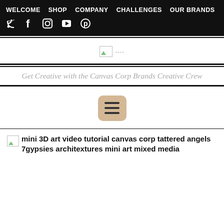WELCOME  SHOP  COMPANY  CHALLENGES  OUR BRANDS
[Figure (screenshot): Broken image placeholder with dashed lines indicating a logo or header image]
Get Creative with the Canvas Corp Brands Creative Crew
[Figure (other): Hamburger menu icon button with tan/beige rounded square background and three horizontal dark lines]
[Figure (other): Broken image thumbnail with alt text: mini 3D art video tutorial canvas corp tattered angels 7gypsies architextures mini art mixed media]
mini 3D art video tutorial canvas corp tattered angels 7gypsies architextures mini art mixed media